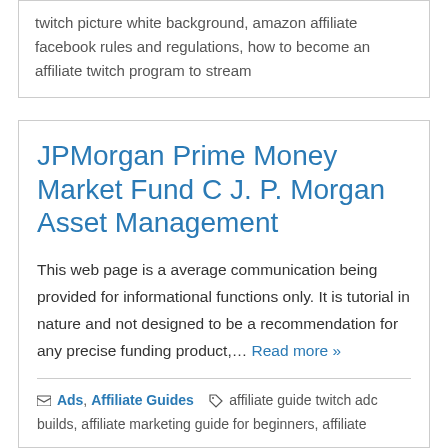twitch picture white background, amazon affiliate facebook rules and regulations, how to become an affiliate twitch program to stream
JPMorgan Prime Money Market Fund C J. P. Morgan Asset Management
This web page is a average communication being provided for informational functions only. It is tutorial in nature and not designed to be a recommendation for any precise funding product,... Read more »
Ads, Affiliate Guides   affiliate guide twitch adc builds, affiliate marketing guide for beginners, affiliate